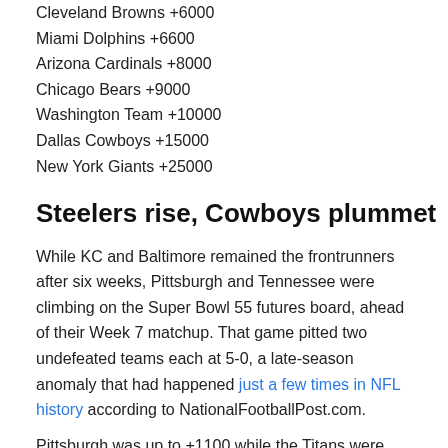Cleveland Browns +6000
Miami Dolphins +6600
Arizona Cardinals +8000
Chicago Bears +9000
Washington Team +10000
Dallas Cowboys +15000
New York Giants +25000
Steelers rise, Cowboys plummet
While KC and Baltimore remained the frontrunners after six weeks, Pittsburgh and Tennessee were climbing on the Super Bowl 55 futures board, ahead of their Week 7 matchup. That game pitted two undefeated teams each at 5-0, a late-season anomaly that had happened just a few times in NFL history according to NationalFootballPost.com.
Pittsburgh was up to +1100 while the Titans were +1500